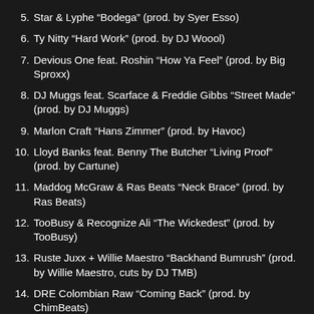5. Star & Lyphe “Bodega” (prod. by Syer Esso)
6. Ty Nitty “Hard Work” (prod. by DJ Woool)
7. Devious One feat. Roshin “How Ya Feel” (prod. by Big Sproxx)
8. DJ Muggs feat. Scarface & Freddie Gibbs “Street Made” (prod. by DJ Muggs)
9. Marlon Craft “Hans Zimmer” (prod. by Havoc)
10. Lloyd Banks feat. Benny The Butcher “Living Proof” (prod. by Cartune)
11. Maddog McGraw & Ras Beats “Neck Brace” (prod. by Ras Beats)
12. TooBusy & Recognize Ali “The Wickedest” (prod. by TooBusy)
13. Ruste Juxx + Willie Maestro “Backhand Bumrush” (prod. by Willie Maestro, cuts by DJ TMB)
14. DRE Colombian Raw “Coming Back” (prod. by ChimBeats)